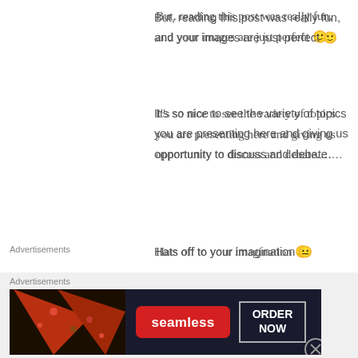But, reading this post was really fun, and your images are just perfect 🙂
It's so nice to see the variety of topics you are presenting here and giving us opportunity to discuss and debate….
Hats off to your imagination 😐
★ Like
Reply ↓
Mabel Kwong
on 21 December 2015 at 10:11 PM said:
[Figure (other): Avatar photo of Mabel Kwong, a circular profile picture showing a person]
[Figure (other): Seamless food delivery advertisement banner with pizza image, red Seamless logo, and ORDER NOW button]
Advertisements